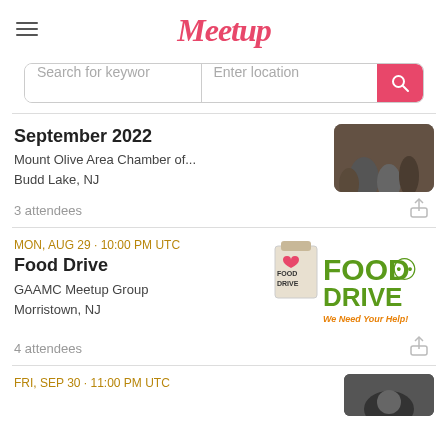Meetup
Search for keywords | Enter location
September 2022
Mount Olive Area Chamber of...
Budd Lake, NJ
3 attendees
MON, AUG 29 · 10:00 PM UTC
Food Drive
GAAMC Meetup Group
Morristown, NJ
4 attendees
FRI, SEP 30 · 11:00 PM UTC